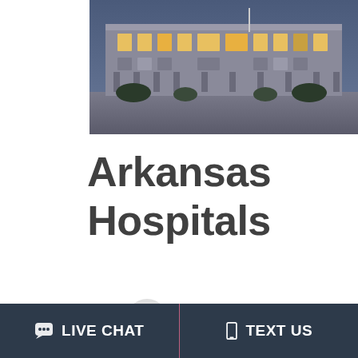[Figure (photo): Exterior photo of a large institutional building (hospital or government building) at dusk, with lit windows and a flagpole, shot from a low angle showing a wide stone facade.]
Arkansas Hospitals
BAPTIST HEALTH MEDICAL CENTER
LIVE CHAT   TEXT US